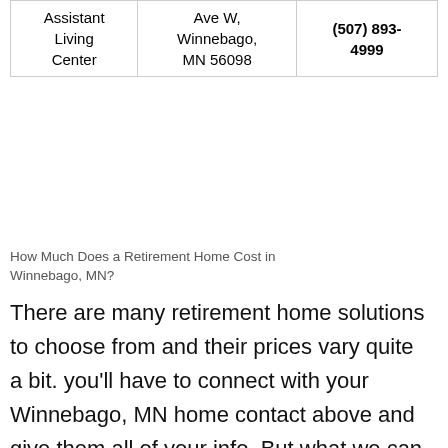| Assistant Living Center | Ave W, Winnebago, MN 56098 | (507) 893-4999 |
How Much Does a Retirement Home Cost in Winnebago, MN?
There are many retirement home solutions to choose from and their prices vary quite a bit. you'll have to connect with your Winnebago, MN home contact above and give them all of your info. But what we can say is that the price of your retirement home will depend heavily on the following variables: